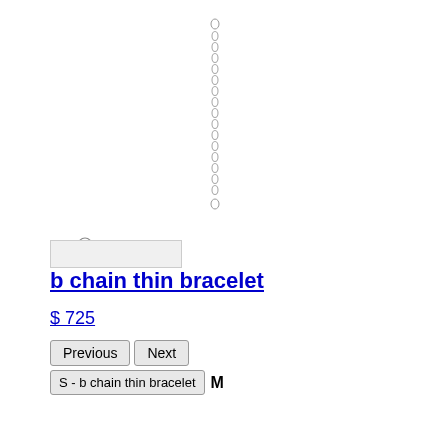[Figure (photo): A thin chain bracelet shown vertically, silver/gray colored links forming a long thin chain against white background]
[Figure (photo): Small circular thumbnail of the bracelet, showing as a small open circle/ring icon]
b chain thin bracelet
$ 725
Previous  Next
S - b chain thin bracelet  M